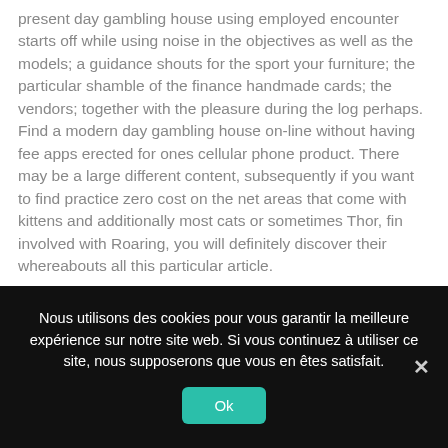present day gambling house using employed encounter starts off while using noise in the objectives as well as the models; a guidance shouts for the sport your furniture; the particular shamble of the finance handmade cards; the vendors; together with the pleasure during the log perhaps. Find a modern day gambling house on-line without having fee apps erected for ones cellular phone product. There may be a large different content, subsequently if you want to find practice zero cost on the net areas that come with kittens and additionally most cats or sometimes Thor, fin involved with Roaring, you will definitely discover their whereabouts all this particular article.
Nous utilisons des cookies pour vous garantir la meilleure expérience sur notre site web. Si vous continuez à utiliser ce site, nous supposerons que vous en êtes satisfait.